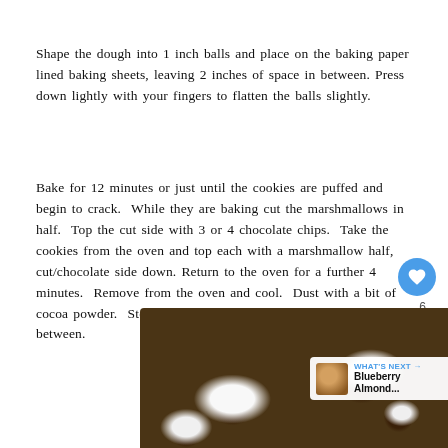Shape the dough into 1 inch balls and place on the baking paper lined baking sheets, leaving 2 inches of space in between. Press down lightly with your fingers to flatten the balls slightly.
Bake for 12 minutes or just until the cookies are puffed and begin to crack. While they are baking cut the marshmallows in half. Top the cut side with 3 or 4 chocolate chips. Take the cookies from the oven and top each with a marshmallow half, cut/chocolate side down. Return to the oven for a further 4 minutes. Remove from the oven and cool. Dust with a bit of cocoa powder. Store in an airtight container with wax paper in between.
[Figure (photo): Photo of chocolate cookies topped with melted marshmallows dusted with powdered sugar, displayed on a white surface.]